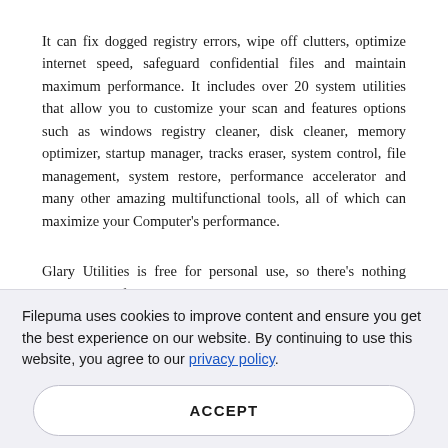It can fix dogged registry errors, wipe off clutters, optimize internet speed, safeguard confidential files and maintain maximum performance. It includes over 20 system utilities that allow you to customize your scan and features options such as windows registry cleaner, disk cleaner, memory optimizer, startup manager, tracks eraser, system control, file management, system restore, performance accelerator and many other amazing multifunctional tools, all of which can maximize your Computer's performance.
Glary Utilities is free for personal use, so there's nothing stopping you from downloading it to try it out. You can have a try, it won't let you down.
Key Features:
Protect your privacy and security
Block spyware, trojans, adware, etc.
Simple, fast and user friendly interface
Filepuma uses cookies to improve content and ensure you get the best experience on our website. By continuing to use this website, you agree to our privacy policy.